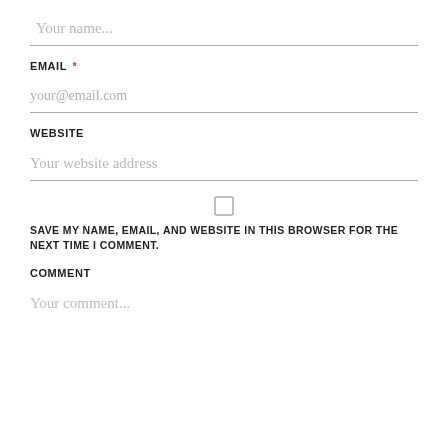Your name...
EMAIL *
your@email.com
WEBSITE
Your website address
SAVE MY NAME, EMAIL, AND WEBSITE IN THIS BROWSER FOR THE NEXT TIME I COMMENT.
COMMENT
Your comment...